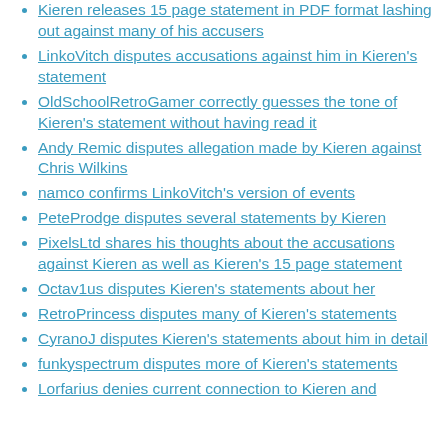Kieren releases 15 page statement in PDF format lashing out against many of his accusers
LinkoVitch disputes accusations against him in Kieren's statement
OldSchoolRetroGamer correctly guesses the tone of Kieren's statement without having read it
Andy Remic disputes allegation made by Kieren against Chris Wilkins
namco confirms LinkoVitch's version of events
PeteProdge disputes several statements by Kieren
PixelsLtd shares his thoughts about the accusations against Kieren as well as Kieren's 15 page statement
Octav1us disputes Kieren's statements about her
RetroPrincess disputes many of Kieren's statements
CyranoJ disputes Kieren's statements about him in detail
funkyspectrum disputes more of Kieren's statements
Lorfarius denies current connection to Kieren and